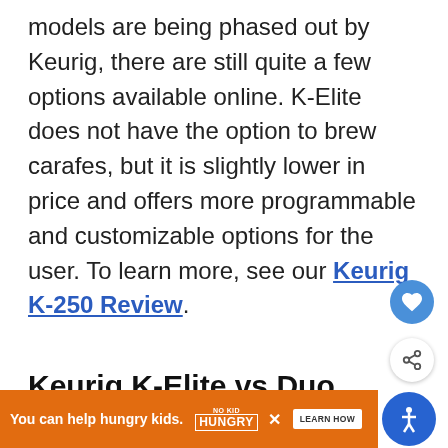models are being phased out by Keurig, there are still quite a few options available online. K-Elite does not have the option to brew carafes, but it is slightly lower in price and offers more programmable and customizable options for the user. To learn more, see our Keurig K-250 Review.
Keurig K-Elite vs Duo
Keurig K-Duo is the perfect brewer for...
[Figure (screenshot): Heart (favorite) button - blue circle with white heart icon]
[Figure (screenshot): Share button - white circle with share icon]
[Figure (screenshot): What's Next widget showing Keurig K-Select Review with coffee machine image thumbnail]
[Figure (screenshot): Advertisement banner: orange background, 'You can help hungry kids.' No Kid Hungry logo, LEARN HOW button, close button]